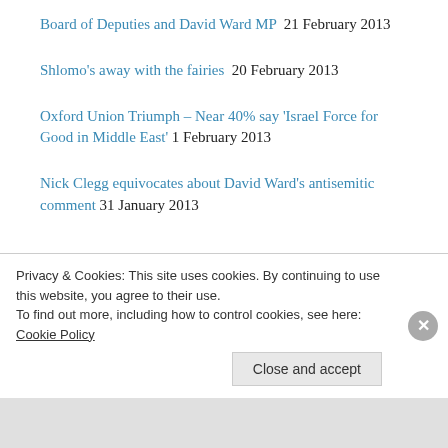Board of Deputies and David Ward MP  21 February 2013
Shlomo's away with the fairies  20 February 2013
Oxford Union Triumph – Near 40% say 'Israel Force for Good in Middle East'  1 February 2013
Nick Clegg equivocates about David Ward's antisemitic comment  31 January 2013
Privacy & Cookies: This site uses cookies. By continuing to use this website, you agree to their use. To find out more, including how to control cookies, see here: Cookie Policy